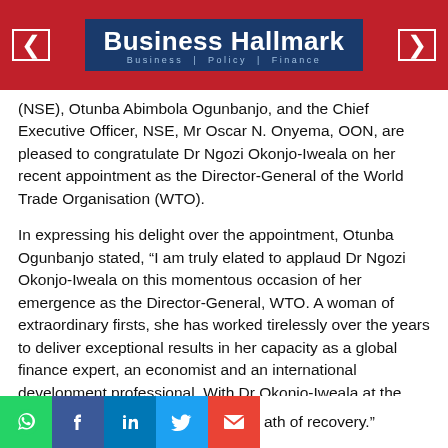Business Hallmark | Business | Policy | Finance
(NSE), Otunba Abimbola Ogunbanjo, and the Chief Executive Officer, NSE, Mr Oscar N. Onyema, OON, are pleased to congratulate Dr Ngozi Okonjo-Iweala on her recent appointment as the Director-General of the World Trade Organisation (WTO).
In expressing his delight over the appointment, Otunba Ogunbanjo stated, “I am truly elated to applaud Dr Ngozi Okonjo-Iweala on this momentous occasion of her emergence as the Director-General, WTO. A woman of extraordinary firsts, she has worked tirelessly over the years to deliver exceptional results in her capacity as a global finance expert, an economist and an international development professional. With Dr Okonjo-Iweala at the helm of affairs, I am confident of a swift and collaborative response to critical issues of global concern – including the COVID-19 pandemic – that will set the global economy on a path of recovery."